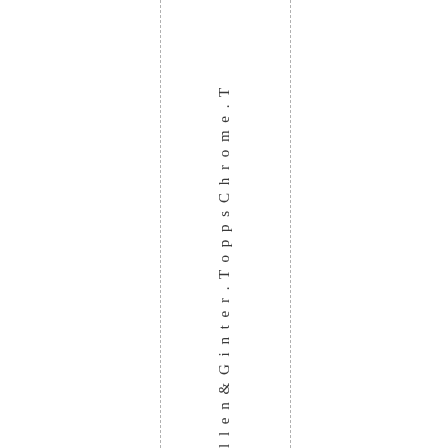l l e n & G i n t e r . T o p p s C h r o m e . T